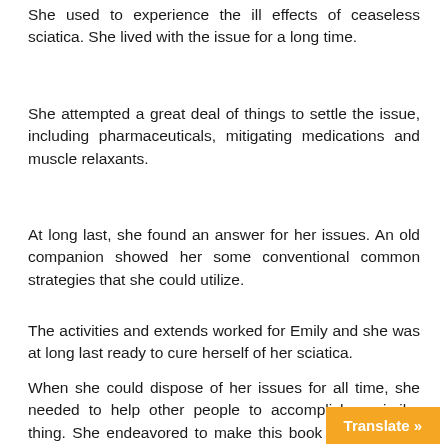She used to experience the ill effects of ceaseless sciatica. She lived with the issue for a long time.
She attempted a great deal of things to settle the issue, including pharmaceuticals, mitigating medications and muscle relaxants.
At long last, she found an answer for her issues. An old companion showed her some conventional common strategies that she could utilize.
The activities and extends worked for Emily and she was at long last ready to cure herself of her sciatica.
When she could dispose of her issues for all time, she needed to help other people to accomplish a similar thing. She endeavored to make this book so she could offer these exceptionally viable procedures to others.